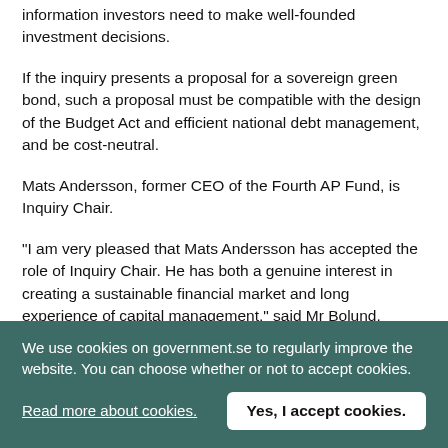information investors need to make well-founded investment decisions.
If the inquiry presents a proposal for a sovereign green bond, such a proposal must be compatible with the design of the Budget Act and efficient national debt management, and be cost-neutral.
Mats Andersson, former CEO of the Fourth AP Fund, is Inquiry Chair.
"I am very pleased that Mats Andersson has accepted the role of Inquiry Chair. He has both a genuine interest in creating a sustainable financial market and long experience of capital management," said Mr Bolund.
The inquiry is to present its report by 15 December 2017.
We use cookies on government.se to regularly improve the website. You can choose whether or not to accept cookies.
Read more about cookies.
Yes, I accept cookies.